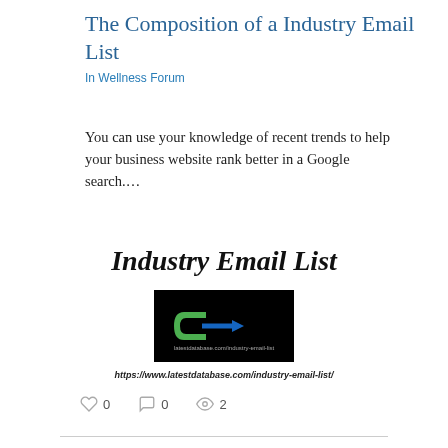The Composition of a Industry Email List
In Wellness Forum
You can use your knowledge of recent trends to help your business website rank better in a Google search....
Industry Email List
[Figure (logo): Black background logo with green C-arrow icon and URL text 'latestdatabase.com/industry-email-list']
https://www.latestdatabase.com/industry-email-list/
❤ 0   💬 0   👁 2